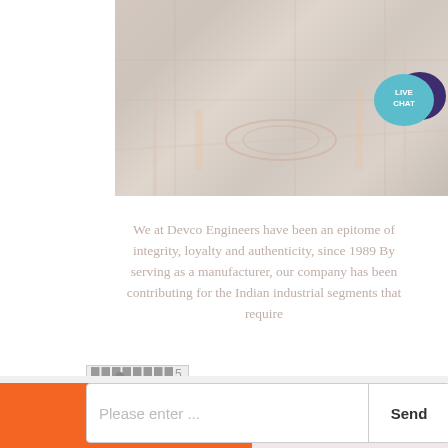[Figure (photo): Factory/industrial interior photo showing industrial equipment, circular machinery, orange/yellow pipes and structures. Image appears washed out/faded.]
[Figure (infographic): Live Chat speech bubble icon in teal/dark blue colors with text LIVE CHAT]
We at Devco Engineers have been an epitome of integrity, loyalty and authenticity, since 1989 By serving as a manufacturer, our company has been contributing for the Indian industrial segments that require
████████5
[Figure (screenshot): Bottom bar with orange button on left, WhatsApp button on right, and a chat input overlay with 'Please enter ...' placeholder and Send button]